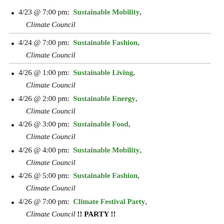4/23 @ 7:00 pm:  Sustainable Mobility, Climate Council
4/24 @ 7:00 pm:  Sustainable Fashion, Climate Council
4/26 @ 1:00 pm:  Sustainable Living, Climate Council
4/26 @ 2:00 pm:  Sustainable Energy, Climate Council
4/26 @ 3:00 pm:  Sustainable Food, Climate Council
4/26 @ 4:00 pm:  Sustainable Mobility, Climate Council
4/26 @ 5:00 pm:  Sustainable Fashion, Climate Council
4/26 @ 7:00 pm:  Climate Festival Party, Climate Council !! PARTY !!